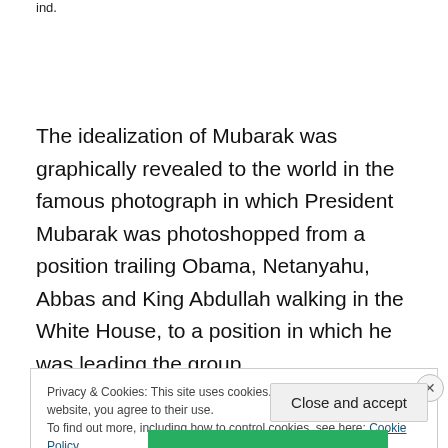ind.
The idealization of Mubarak was graphically revealed to the world in the famous photograph in which President Mubarak was photoshopped from a position trailing Obama, Netanyahu, Abbas and King Abdullah walking in the White House, to a position in which he was leading the group.
Privacy & Cookies: This site uses cookies. By continuing to use this website, you agree to their use.
To find out more, including how to control cookies, see here: Cookie Policy
Close and accept